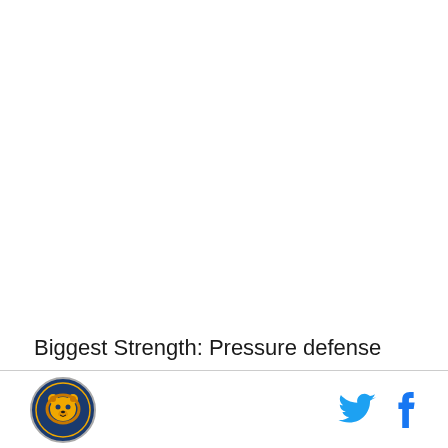Biggest Strength: Pressure defense
[Figure (logo): Sports team logo — circular emblem with a golden bear/lion head on dark navy blue background]
[Figure (logo): Twitter bird icon in light blue]
[Figure (logo): Facebook 'f' icon in blue]